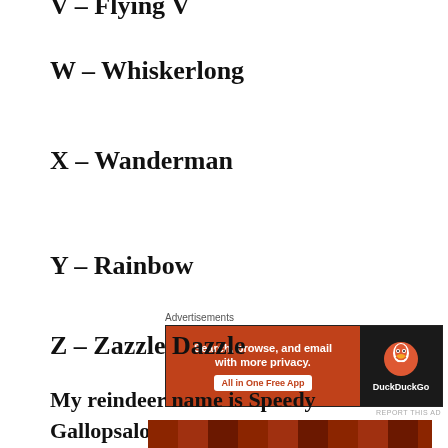V – Flying V
W – Whiskerlong
X – Wanderman
[Figure (other): DuckDuckGo advertisement banner: orange left panel with text 'Search, browse, and email with more privacy. All in One Free App' and dark right panel with DuckDuckGo duck logo and brand name.]
Y – Rainbow
Z – Zazzle Dazzle
My reindeer name is Speedy Gallopsalot, what's yours?
[Figure (photo): Partial bottom strip of a photo showing what appears to be wooden shelves or a bookcase with reddish-brown tones.]